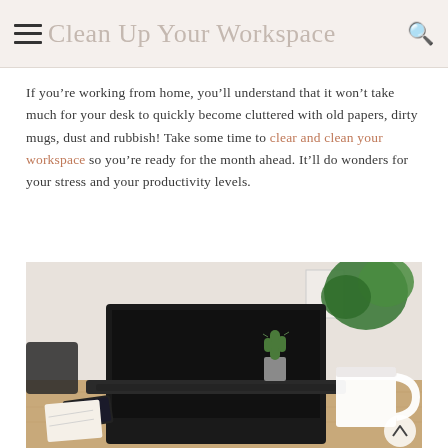Clean Up Your Workspace
If you’re working from home, you’ll understand that it won’t take much for your desk to quickly become cluttered with old papers, dirty mugs, dust and rubbish! Take some time to clear and clean your workspace so you’re ready for the month ahead. It’ll do wonders for your stress and your productivity levels.
[Figure (photo): A wooden desk with an open laptop (dark screen), a white mug, a small cactus in a pot, a smartphone, a notebook, and a green plant visible in the background against a light wall.]